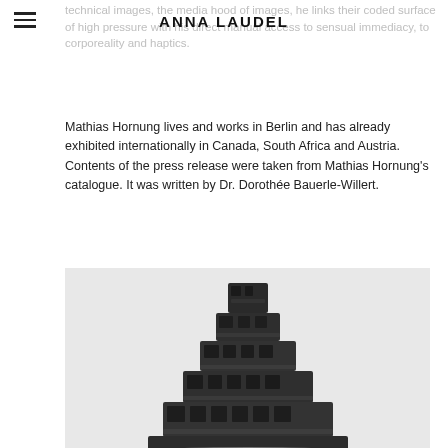ANNA LAUDEL
technical images, the media hood of images, he links their coded surface of high pressure with his direct manual access to sensual immediacy, to corporeality and haptics.
Mathias Hornung lives and works in Berlin and has already exhibited internationally in Canada, South Africa and Austria.
Contents of the press release were taken from Mathias Hornung's catalogue. It was written by Dr. Dorothée Bauerle-Willert.
[Figure (photo): Black and white photograph of a stacked tower-like sculpture made of carved dark material (appears to be wood or stone), shaped like a stepped pyramid with faces and figures carved into each level, photographed against a light grey background.]